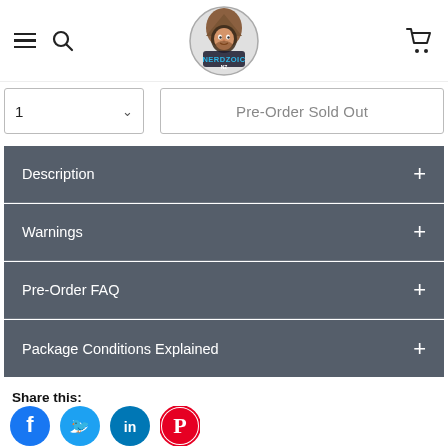Nerdzoic navigation header with hamburger menu, search icon, logo, and cart icon
1  Pre-Order Sold Out
Description +
Warnings +
Pre-Order FAQ +
Package Conditions Explained +
Share this:
[Figure (illustration): Social share icons: Facebook (blue circle), Twitter (light blue circle), LinkedIn (blue circle), Pinterest (red circle with white P)]